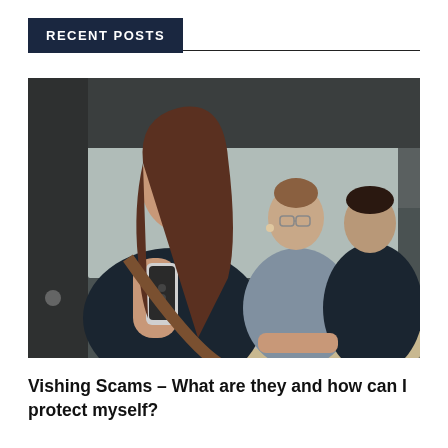RECENT POSTS
[Figure (photo): A woman in the foreground looking at her smartphone, with two other people blurred in the background at a table with a laptop, in an office or meeting room setting.]
Vishing Scams – What are they and how can I protect myself?